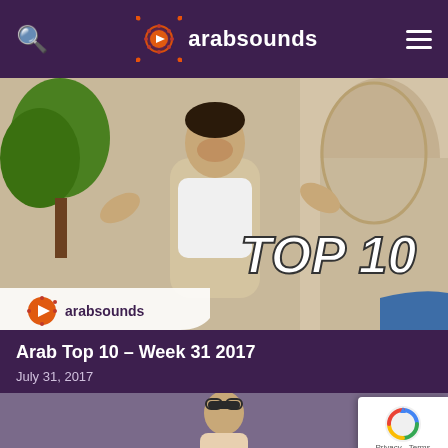arabsounds
[Figure (screenshot): Screenshot of arabsounds mobile website showing a young man singing with arms outstretched against decorative stone archway background. Text overlay reads TOP 10. Arabsounds logo watermark in bottom left corner of image.]
Arab Top 10 – Week 31 2017
July 31, 2017
[Figure (photo): Partial view of another article thumbnail showing a woman with sunglasses on top of her head.]
[Figure (other): Google reCAPTCHA badge with circular arrow logo and Privacy - Terms text.]